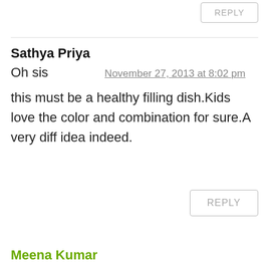REPLY
Sathya Priya
November 27, 2013 at 8:02 pm
Oh sis
this must be a healthy filling dish.Kids love the color and combination for sure.A very diff idea indeed.
REPLY
Meena Kumar